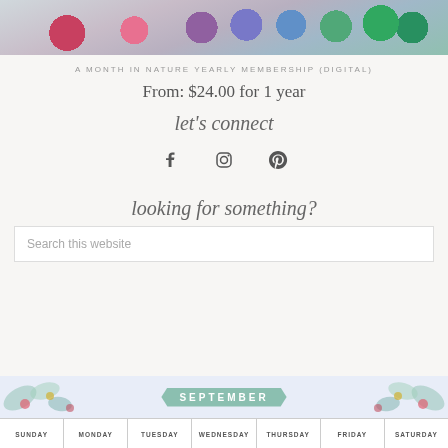[Figure (photo): Watercolor paint palette with colorful paint pots from red/pink to purple, blue, and green, on a textured grey background]
A MONTH IN NATURE YEARLY MEMBERSHIP (DIGITAL)
From: $24.00 for 1 year
let's connect
[Figure (other): Social media icons: Facebook, Instagram, Pinterest]
looking for something?
Search this website
[Figure (other): Bottom portion of a September calendar with floral watercolor decorations on a light blue background, showing days of the week: Sunday, Monday, Tuesday, Wednesday, Thursday, Friday, Saturday]